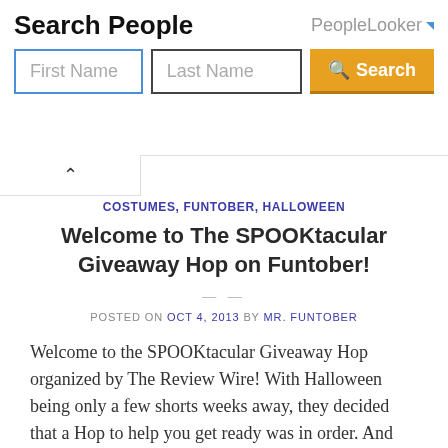[Figure (screenshot): Advertisement banner for PeopleLooker with 'Search People' heading, First Name and Last Name input fields, and an orange Search button]
COSTUMES, FUNTOBER, HALLOWEEN
Welcome to The SPOOKtacular Giveaway Hop on Funtober!
POSTED ON OCT 4, 2013 BY MR. FUNTOBER
Welcome to the SPOOKtacular Giveaway Hop organized by The Review Wire! With Halloween being only a few shorts weeks away, they decided that a Hop to help you get ready was in order. And we agreed! More than thirty bloggers are giving away prizes valued at $25 or more for this Halloween Giveaway Hop. It [...]